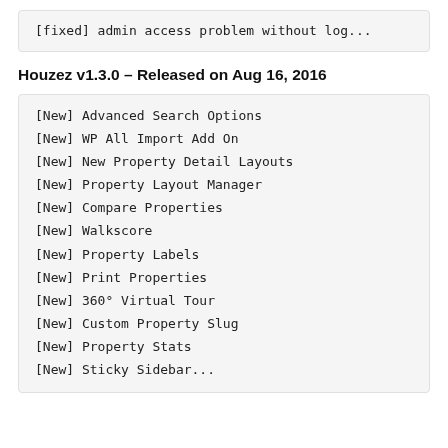[fixed] admin access problem without log...
Houzez v1.3.0 – Released on Aug 16, 2016
[New] Advanced Search Options
[New] WP All Import Add On
[New] New Property Detail Layouts
[New] Property Layout Manager
[New] Compare Properties
[New] Walkscore
[New] Property Labels
[New] Print Properties
[New] 360° Virtual Tour
[New] Custom Property Slug
[New] Property Stats
[New] Sticky Sidebar...